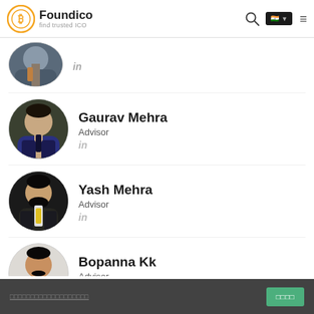Foundico – find trusted ICO
[Figure (photo): Partial profile photo of a person in a suit, cropped at top]
in
[Figure (photo): Profile photo of Gaurav Mehra]
Gaurav Mehra
Advisor
in
[Figure (photo): Profile photo of Yash Mehra]
Yash Mehra
Advisor
in
[Figure (photo): Profile photo of Bopanna Kk]
Bopanna Kk
Advisor
in
□□□□□□□□□□□□□□□□□□□   □□□□